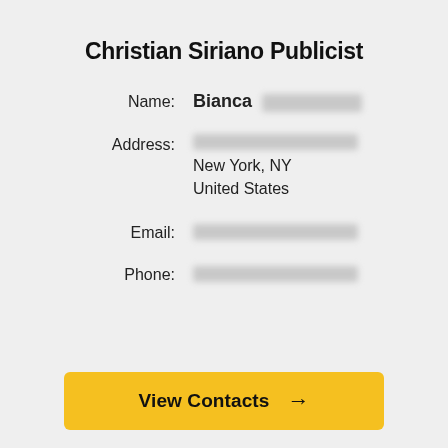Christian Siriano Publicist
Name: Bianca [redacted]
Address: [redacted]
New York, NY
United States
Email: [redacted]
Phone: [redacted]
View Contacts →